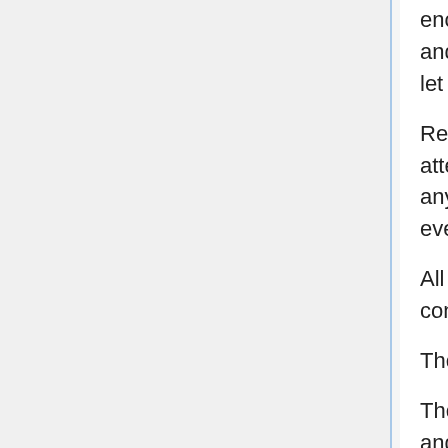enough to cut diamond. There's a moment of tense silence - and then she nods, again, with an affirmative noise. "... won't let NachtWal win."
Reinforce's Book earns a glare from Mikoto, as Hayate calls attention to it. She doesn't like the idea of using it to do anything, but she likes the idea of the world being consumed even less.
All the World Tree's dreams are there, trapped inside an all-consuming tome.
The thought is somehow sad, to Mikoto Minagi.
There's no time to dwell on it. NachtWal emerges, gigantic and horrible, and the snakes are back, now, each one she cleaved away. Back - and worse. It is horror over horror, and it's well that Mikoto is well-accustomed to horrors,